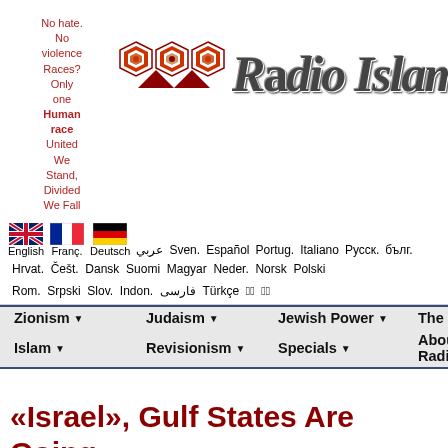No hate. No violence Races? Only one Human race United We Stand, Divided We Fall
[Figure (logo): Radio Islam logo with geometric pattern and stylized text]
English Franç. Deutsch عربي Sven. Español Portug. Italiano Русск. бълг. Hrvat. Češt. Dansk Suomi Magyar Neder. Norsk Polski Rom. Srpski Slov. Indon. فارسی Türkçe 한국어 日本語
Zionism ▾  Judaism ▾  Jewish Power ▾  The World ▾  Islam ▾  Revisionism ▾  Specials ▾  About Radio Islam ▾
«Israel», Gulf States Are Going Relationship